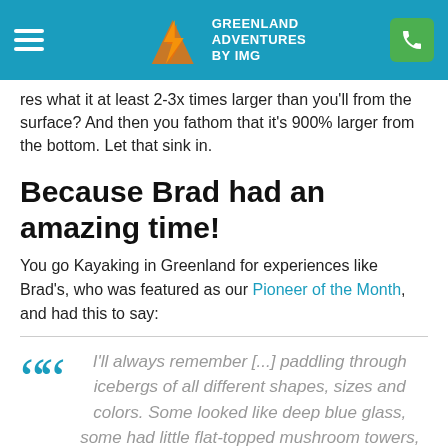GREENLAND ADVENTURES BY IMG
res what it at least 2-3x times larger than you'll from the surface? And then you fathom that it's 900% larger from the bottom. Let that sink in.
Because Brad had an amazing time!
You go Kayaking in Greenland for experiences like Brad's, who was featured as our Pioneer of the Month, and had this to say:
I'll always remember [...] paddling through icebergs of all different shapes, sizes and colors. Some looked like deep blue glass, some had little flat-topped mushroom towers, some had stripes of black